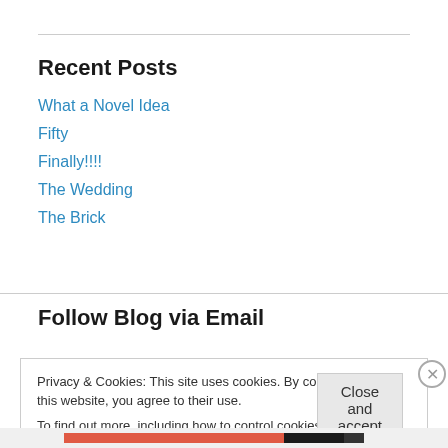Recent Posts
What a Novel Idea
Fifty
Finally!!!!
The Wedding
The Brick
Follow Blog via Email
Privacy & Cookies: This site uses cookies. By continuing to use this website, you agree to their use.
To find out more, including how to control cookies, see here: Cookie Policy
Close and accept